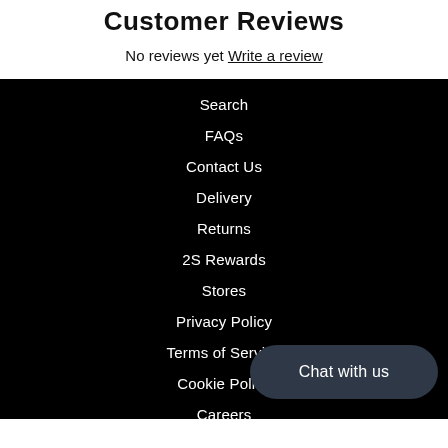Customer Reviews
No reviews yet Write a review
Search
FAQs
Contact Us
Delivery
Returns
2S Rewards
Stores
Privacy Policy
Terms of Service
Cookie Policy
Careers
Chat with us